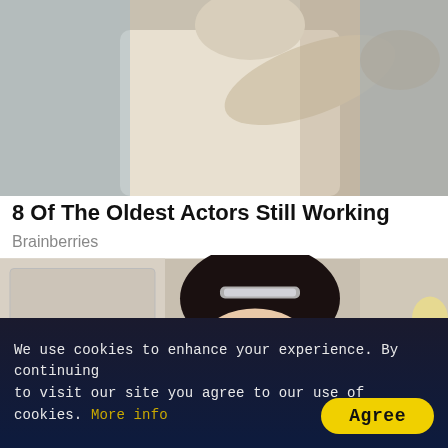[Figure (photo): Person extending arm/fist toward camera, wearing light colored top, blurred motion]
8 Of The Oldest Actors Still Working
Brainberries
[Figure (photo): Young woman with dark hair in bun secured with metallic clip, heavy eye makeup, looking down, hotel room background]
7 Interesting Facts About GoT Star Maisie Williams
We use cookies to enhance your experience. By continuing to visit our site you agree to our use of cookies. More info